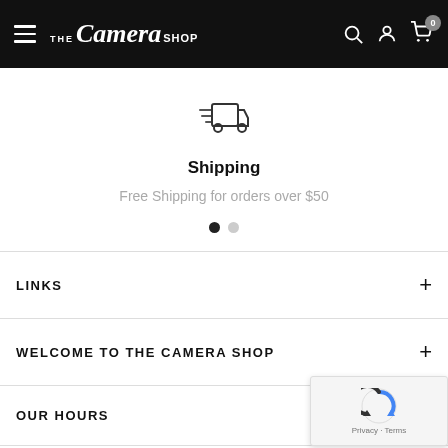The Camera Shop — navigation header with hamburger menu, logo, search, account, and cart icons
[Figure (illustration): Fast shipping truck icon (outline style with speed lines)]
Shipping
Free Shipping for orders over $50
[Figure (other): Carousel dots: one active (dark), one inactive (light)]
LINKS
WELCOME TO THE CAMERA SHOP
OUR HOURS
[Figure (other): Google reCAPTCHA widget with logo, Privacy and Terms links]